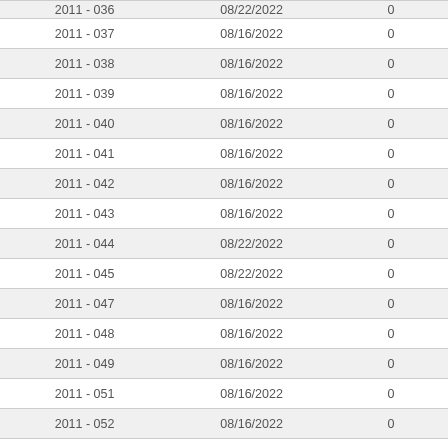| 2011 - 036 | 08/22/2022 | 0 |
| 2011 - 037 | 08/16/2022 | 0 |
| 2011 - 038 | 08/16/2022 | 0 |
| 2011 - 039 | 08/16/2022 | 0 |
| 2011 - 040 | 08/16/2022 | 0 |
| 2011 - 041 | 08/16/2022 | 0 |
| 2011 - 042 | 08/16/2022 | 0 |
| 2011 - 043 | 08/16/2022 | 0 |
| 2011 - 044 | 08/22/2022 | 0 |
| 2011 - 045 | 08/22/2022 | 0 |
| 2011 - 047 | 08/16/2022 | 0 |
| 2011 - 048 | 08/16/2022 | 0 |
| 2011 - 049 | 08/16/2022 | 0 |
| 2011 - 051 | 08/16/2022 | 0 |
| 2011 - 052 | 08/16/2022 | 0 |